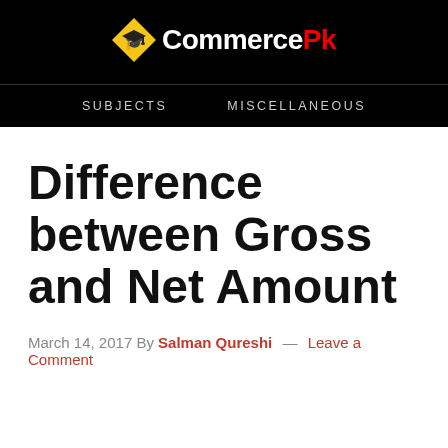[Figure (logo): CommercePk logo: yellow diamond with graduation cap icon, white text 'Commerce' and red text 'Pk' on black background]
SUBJECTS   MISCELLANEOUS
Difference between Gross and Net Amount
March 14, 2017 By Salman Qureshi — Leave a Comment